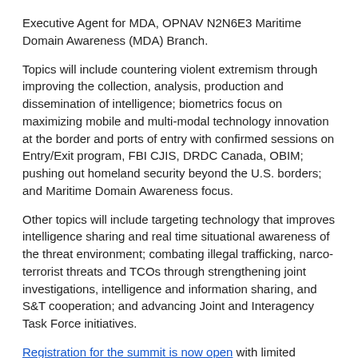Executive Agent for MDA, OPNAV N2N6E3 Maritime Domain Awareness (MDA) Branch.
Topics will include countering violent extremism through improving the collection, analysis, production and dissemination of intelligence; biometrics focus on maximizing mobile and multi-modal technology innovation at the border and ports of entry with confirmed sessions on Entry/Exit program, FBI CJIS, DRDC Canada, OBIM; pushing out homeland security beyond the U.S. borders; and Maritime Domain Awareness focus.
Other topics will include targeting technology that improves intelligence sharing and real time situational awareness of the threat environment; combating illegal trafficking, narco-terrorist threats and TCOs through strengthening joint investigations, intelligence and information sharing, and S&T cooperation; and advancing Joint and Interagency Task Force initiatives.
Registration for the summit is now open with limited seating available. Active military, government and state personnel will be provided with complimentary access to the summit.
Article Topics